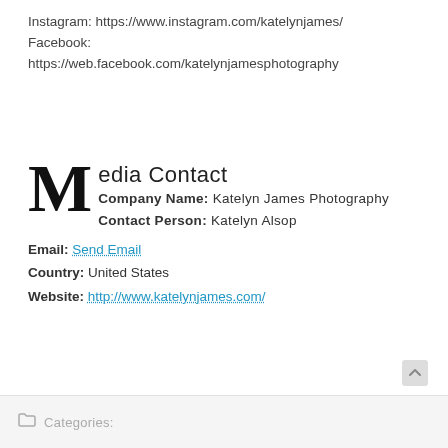Instagram: https://www.instagram.com/katelynjames/
Facebook:
https://web.facebook.com/katelynjamesphotography
Media Contact
Company Name: Katelyn James Photography
Contact Person: Katelyn Alsop
Email: Send Email
Country: United States
Website: http://www.katelynjames.com/
Categories: